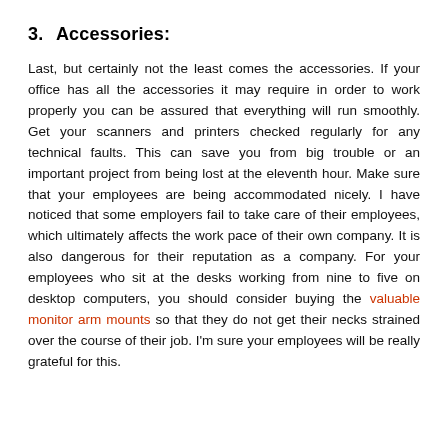3.    Accessories:
Last, but certainly not the least comes the accessories. If your office has all the accessories it may require in order to work properly you can be assured that everything will run smoothly. Get your scanners and printers checked regularly for any technical faults. This can save you from big trouble or an important project from being lost at the eleventh hour. Make sure that your employees are being accommodated nicely. I have noticed that some employers fail to take care of their employees, which ultimately affects the work pace of their own company. It is also dangerous for their reputation as a company. For your employees who sit at the desks working from nine to five on desktop computers, you should consider buying the valuable monitor arm mounts so that they do not get their necks strained over the course of their job. I'm sure your employees will be really grateful for this.